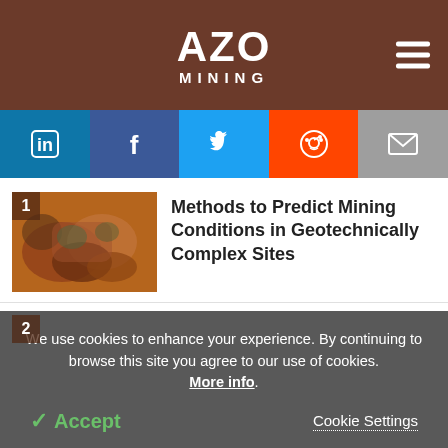AZO MINING
[Figure (other): Social sharing buttons: LinkedIn, Facebook, Twitter, Reddit, Email]
[Figure (photo): Aerial photo of rocky reddish terrain - article thumbnail 1]
Methods to Predict Mining Conditions in Geotechnically Complex Sites
[Figure (photo): Photo of H2 hydrogen symbol made of green plants on blue sky - article thumbnail 2]
How is Green Hydrogen Being Used in Mining?
We use cookies to enhance your experience. By continuing to browse this site you agree to our use of cookies. More info.
✓ Accept   Cookie Settings